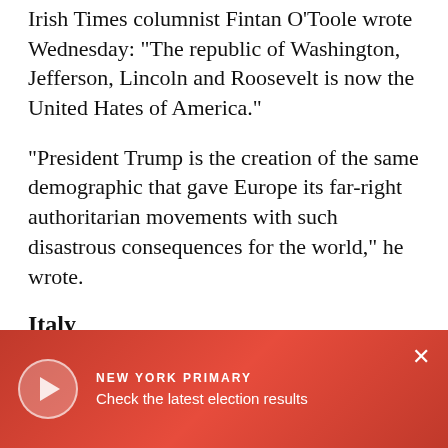Irish Times columnist Fintan O'Toole wrote Wednesday: "The republic of Washington, Jefferson, Lincoln and Roosevelt is now the United Hates of America."
"President Trump is the creation of the same demographic that gave Europe its far-right authoritarian movements with such disastrous consequences for the world," he wrote.
Italy
Italy's premier has offered his congratulations to Trump, brushing aside political differences, following his repeated [obscured] Hillary Clinton.
[Figure (screenshot): Red gradient video overlay banner at the bottom of the page showing a play button circle on the left, text 'NEW YORK PRIMARY' in bold uppercase and 'Check the latest election results' below it, and a close (×) button on the right.]